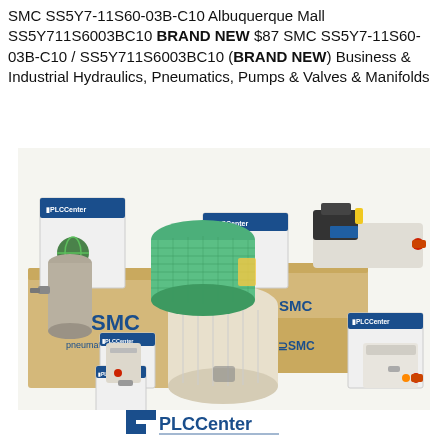SMC SS5Y7-11S60-03B-C10 Albuquerque Mall SS5Y711S6003BC10 BRAND NEW $87 SMC SS5Y7-11S60-03B-C10 / SS5Y711S6003BC10 (BRAND NEW) Business & Industrial Hydraulics, Pneumatics, Pumps & Valves & Manifolds
[Figure (photo): Product photo showing multiple SMC pneumatic components (filters, regulators, manifolds) with PLC Center branded boxes and SMC branded cardboard boxes arranged together]
[Figure (logo): PLC Center logo at the bottom of the page]